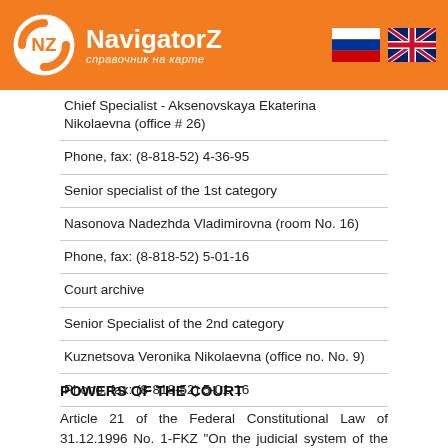NavigatorZ — справочник на карте
| Chief Specialist - Aksenovskaya Ekaterina Nikolaevna (office # 26) |
| Phone, fax: (8-818-52) 4-36-95 |
| Senior specialist of the 1st category |
| Nasonova Nadezhda Vladimirovna (room No. 16) |
| Phone, fax: (8-818-52) 5-01-16 |
| Court archive |
| Senior Specialist of the 2nd category |
| Kuznetsova Veronika Nikolaevna (office no. No. 9) |
| Phone, fax: (8-818-52) 5-01-16 |
POWERS OF THE COURT
Article 21 of the Federal Constitutional Law of 31.12.1996 No. 1-FKZ "On the judicial system of the Russian Federation" one. The district court, within the limits of its competence, considers cases as a court of first and second instance and exercises other powers provided for by federal constitutional law.